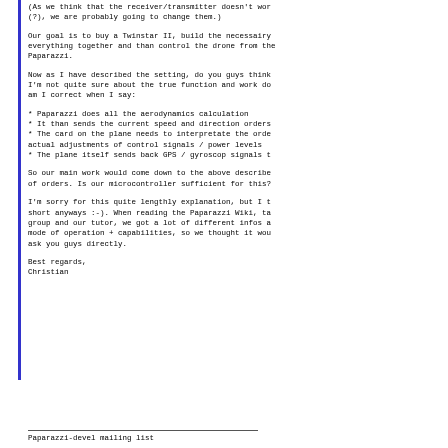(As we think that the receiver/transmitter doesn't wor
(?), we are probably going to change them.)
Our goal is to buy a Twinstar II, build the necessairy
everything together and than control the drone from the
Paparazzi.
Now as I have described the setting, do you guys think
I'm not quite sure about the true function and work do
am I correct when I say:
* Paparazzi does all the aerodynamics calculation
* It than sends the current speed and direction orders
* The card on the plane needs to interpretate the orde
actual adjustments of control signals / power levels
* The plane itself sends back GPS / gyroscop signals t
So our main work would come down to the above describe
of orders. Is our microcontroller sufficient for this?
I'm sorry for this quite lengthly explanation, but I t
short anyways :-). When reading the Paparazzi Wiki, ta
group and our tutor, we got a lot of different infos a
mode of operation + capabilities, so we thought it wou
ask you guys directly.
Best regards,
Christian
Paparazzi-devel mailing list